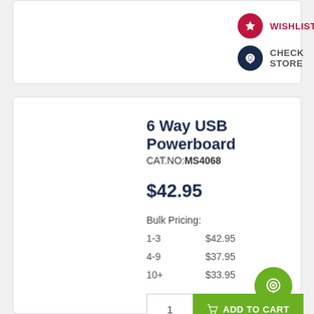WISHLIST
CHECK STORE
6 Way USB Powerboard
CAT.NO:MS4068
$42.95
Bulk Pricing:
| Qty | Price |
| --- | --- |
| 1-3 | $42.95 |
| 4-9 | $37.95 |
| 10+ | $33.95 |
1
ADD TO CART
COMPARE
WISHLIST
CHECK STORE